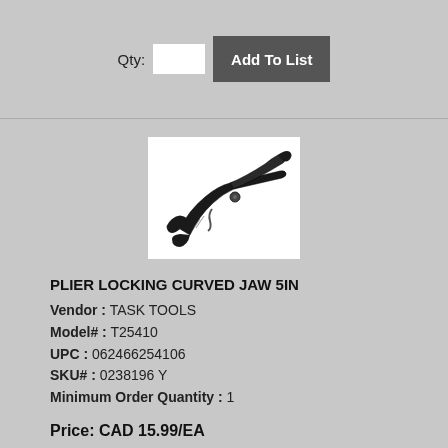Qty: [input] Add To List
[Figure (photo): Locking plier with curved jaw, black finish, side view showing the curved jaw and handle mechanism]
PLIER LOCKING CURVED JAW 5IN
Vendor : TASK TOOLS
Model# : T25410
UPC : 062466254106
SKU# : 0238196 Y
Minimum Order Quantity : 1
Price: CAD 15.99/EA
Qty: [input] Add To List